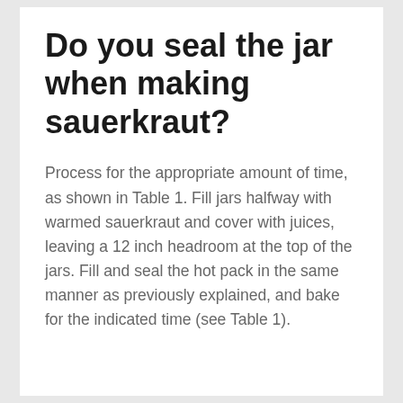Do you seal the jar when making sauerkraut?
Process for the appropriate amount of time, as shown in Table 1. Fill jars halfway with warmed sauerkraut and cover with juices, leaving a 12 inch headroom at the top of the jars. Fill and seal the hot pack in the same manner as previously explained, and bake for the indicated time (see Table 1).